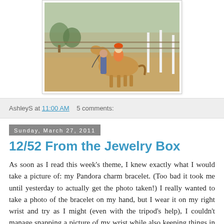[Figure (photo): A child on a small horse/pony in a dirt arena, with an adult standing beside holding the reins. White poles visible in background.]
AshleyS at 11:00 AM   5 comments:
Sunday, March 27, 2011
12/52 From the Jewelry Box
As soon as I read this week's theme, I knew exactly what I would take a picture of: my Pandora charm bracelet. (Too bad it took me until yesterday to actually get the photo taken!) I really wanted to take a photo of the bracelet on my hand, but I wear it on my right wrist and try as I might (even with the tripod's help), I couldn't manage snapping a picture of my wrist while also keeping things in focus, etc.